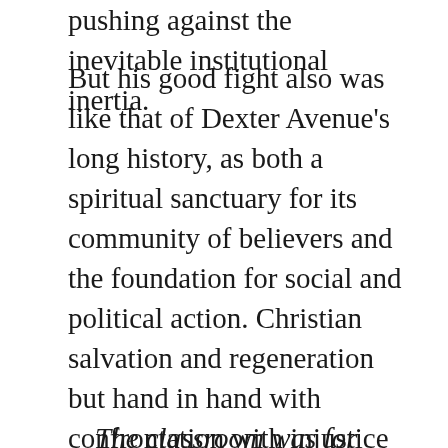pushing against the inevitable institutional inertia.
But his good fight also was like that of Dexter Avenue's long history, as both a spiritual sanctuary for its community of believers and the foundation for social and political action. Christian salvation and regeneration but hand in hand with confrontation with injustice and oppression in this world. So it was with education with Houston: You learned to write well the better to express your ideas and confront those of others; you learned about the past the better to equip yourself to understand the history of injustice and discrimination. Studying history was a moral exercise: learning the history of civil disobedience, what it could accomplish and what it could not. What he said of Dexter Avenue Church was true of his classroom: just substitute classroom for church:
The classroom was for Houston a world: a sanctuary